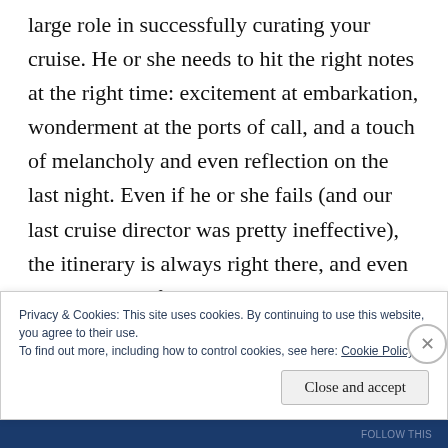large role in successfully curating your cruise. He or she needs to hit the right notes at the right time: excitement at embarkation, wonderment at the ports of call, and a touch of melancholy and even reflection on the last night. Even if he or she fails (and our last cruise director was pretty ineffective), the itinerary is always right there, and even the most out-of-touch passenger has a general sense of the anticipation on the way to the ports and of closure on the return/destination stretch. It's
Privacy & Cookies: This site uses cookies. By continuing to use this website, you agree to their use.
To find out more, including how to control cookies, see here: Cookie Policy
Close and accept